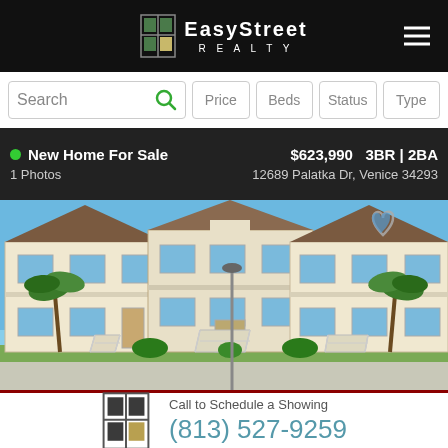[Figure (logo): EasyStreet Realty logo with building icon on black header bar]
Search
Price | Beds | Status | Type
New Home For Sale   $623,990  3BR | 2BA
1 Photos   12689 Palatka Dr, Venice 34293
[Figure (photo): Two-story Florida residential building with palm trees, blue sky, stairs, balconies and green lawn]
Call to Schedule a Showing
(813) 527-9259